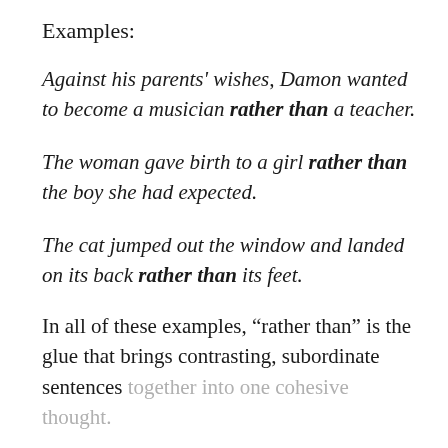Examples:
Against his parents' wishes, Damon wanted to become a musician rather than a teacher.
The woman gave birth to a girl rather than the boy she had expected.
The cat jumped out the window and landed on its back rather than its feet.
In all of these examples, “rather than” is the glue that brings contrasting, subordinate sentences together into one cohesive thought.